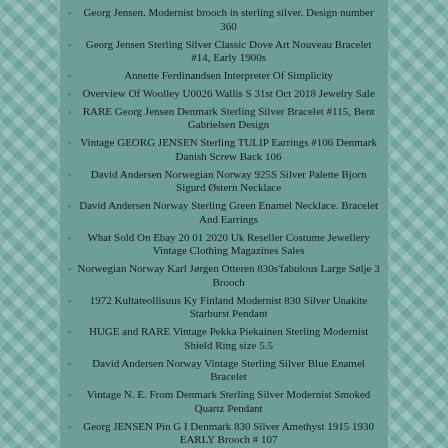Georg Jensen. Modernist brooch in sterling silver. Design number 360
Georg Jensen Sterling Silver Classic Dove Art Nouveau Bracelet #14, Early 1900s
Annette Ferdinandsen Interpreter Of Simplicity
Overview Of Woolley U0026 Wallis S 31st Oct 2018 Jewelry Sale
RARE Georg Jensen Denmark Sterling Silver Bracelet #115, Bent Gabrielsen Design
Vintage GEORG JENSEN Sterling TULIP Earrings #106 Denmark Danish Screw Back 106
David Andersen Norwegian Norway 925S Silver Palette Bjorn Sigurd Østern Necklace
David Andersen Norway Sterling Green Enamel Necklace. Bracelet And Earrings
What Sold On Ebay 20 01 2020 Uk Reseller Costume Jewellery Vintage Clothing Magazines Sales
Norwegian Norway Karl Jørgen Otteren 830s'fabulous Large Sølje 3 Brooch
1972 Kultateollisuus Ky Finland Modernist 830 Silver Unakite Starburst Pendant
HUGE and RARE Vintage Pekka Piekainen Sterling Modernist Shield Ring size 5.5
David Andersen Norway Vintage Sterling Silver Blue Enamel Bracelet
Vintage N. E. From Denmark Sterling Silver Modernist Smoked Quartz Pendant
Georg JENSEN Pin G I Denmark 830 Silver Amethyst 1915 1930 EARLY Brooch # 107